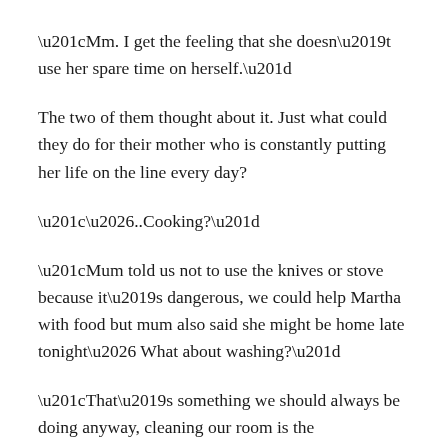“Mm. I get the feeling that she doesn’t use her spare time on herself.”
The two of them thought about it. Just what could they do for their mother who is constantly putting her life on the line every day?
“…..Cooking?”
“Mum told us not to use the knives or stove because it’s dangerous, we could help Martha with food but mum also said she might be home late tonight… What about washing?”
“That’s something we should always be doing anyway, cleaning our room is the same…..”